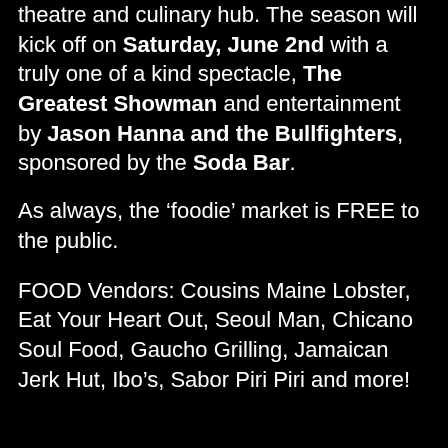theatre and culinary hub. The season will kick off on Saturday, June 2nd with a truly one of a kind spectacle, The Greatest Showman and entertainment by Jason Hanna and the Bullfighters, sponsored by the Soda Bar.
As always, the ‘foodie’ market is FREE to the public.
FOOD Vendors: Cousins Maine Lobster, Eat Your Heart Out, Seoul Man, Chicano Soul Food, Gaucho Grilling, Jamaican Jerk Hut, Ibo’s, Sabor Piri Piri and more!